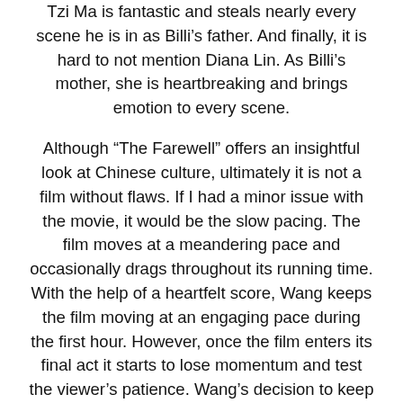Tzi Ma is fantastic and steals nearly every scene he is in as Billi's father. And finally, it is hard to not mention Diana Lin. As Billi's mother, she is heartbreaking and brings emotion to every scene.
Although “The Farewell” offers an insightful look at Chinese culture, ultimately it is not a film without flaws. If I had a minor issue with the movie, it would be the slow pacing. The film moves at a meandering pace and occasionally drags throughout its running time. With the help of a heartfelt score, Wang keeps the film moving at an engaging pace during the first hour. However, once the film enters its final act it starts to lose momentum and test the viewer’s patience. Wang’s decision to keep the movie slow-paced is somewhat effective and allows viewers to get immersed in the story and characters. However, it detracts from the movie’s entertainment-value and ability